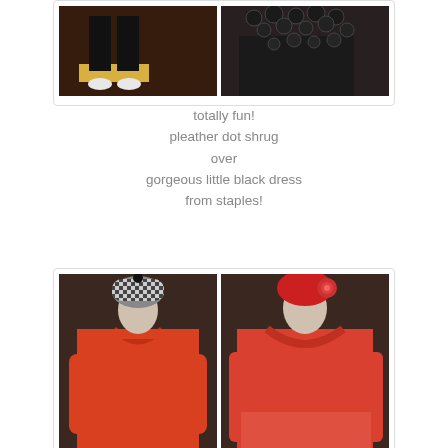[Figure (photo): Two fashion mannequins showing black outfits — left shows black pants with golden/yellow hem and white shoes, right shows a black dress with a pleather dot shrug overlay with circular embellishments]
totally fun!
pleather dot shrug
over
gorgeous little black dress
from staples!
[Figure (photo): Two fashion mannequins wearing red/orange cowl-neck tops. Left mannequin wears a houndstooth black and white beanie hat. Right mannequin wears a red floral hat. Both mannequins are headless fashion forms against a brown curtained background.]